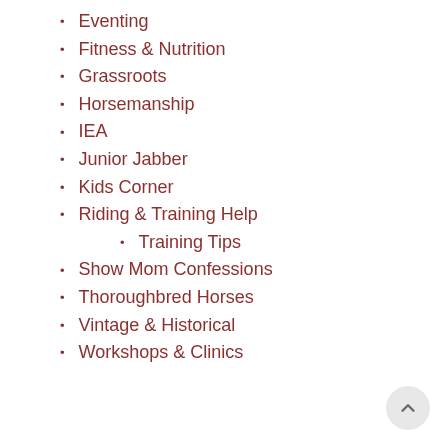Eventing
Fitness & Nutrition
Grassroots
Horsemanship
IEA
Junior Jabber
Kids Corner
Riding & Training Help
Training Tips
Show Mom Confessions
Thoroughbred Horses
Vintage & Historical
Workshops & Clinics